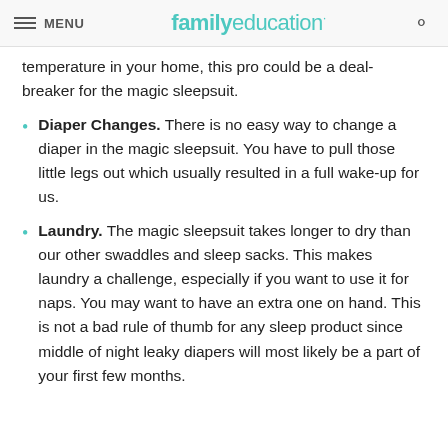MENU | familyeducation
temperature in your home, this pro could be a deal-breaker for the magic sleepsuit.
Diaper Changes. There is no easy way to change a diaper in the magic sleepsuit. You have to pull those little legs out which usually resulted in a full wake-up for us.
Laundry. The magic sleepsuit takes longer to dry than our other swaddles and sleep sacks. This makes laundry a challenge, especially if you want to use it for naps. You may want to have an extra one on hand. This is not a bad rule of thumb for any sleep product since middle of night leaky diapers will most likely be a part of your first few months.